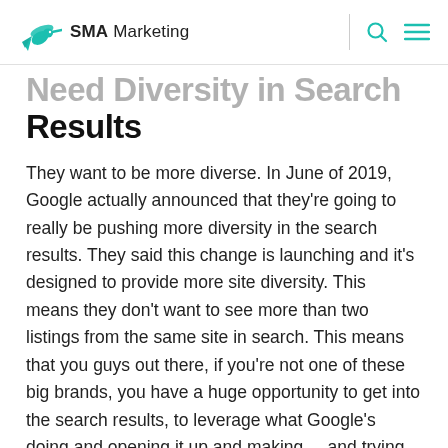SMA Marketing
Need Diversity in Search Results
They want to be more diverse. In June of 2019, Google actually announced that they're going to really be pushing more diversity in the search results. They said this change is launching and it's designed to provide more site diversity. This means they don't want to see more than two listings from the same site in search. This means that you guys out there, if you're not one of these big brands, you have a huge opportunity to get into the search results, to leverage what Google's doing and opening it up and making ... and trying to make it more diverse. And the way that you do that is by writing content that